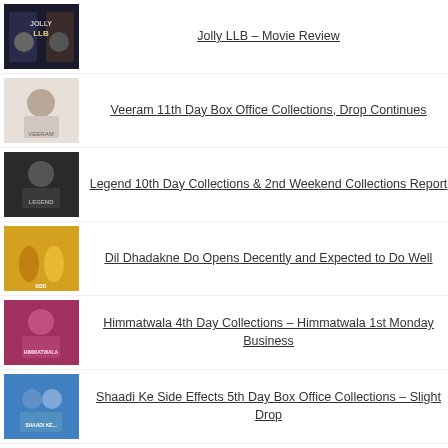Jolly LLB – Movie Review
Veeram 11th Day Box Office Collections, Drop Continues
Legend 10th Day Collections & 2nd Weekend Collections Report
Dil Dhadakne Do Opens Decently and Expected to Do Well
Himmatwala 4th Day Collections – Himmatwala 1st Monday Business
Shaadi Ke Side Effects 5th Day Box Office Collections – Slight Drop